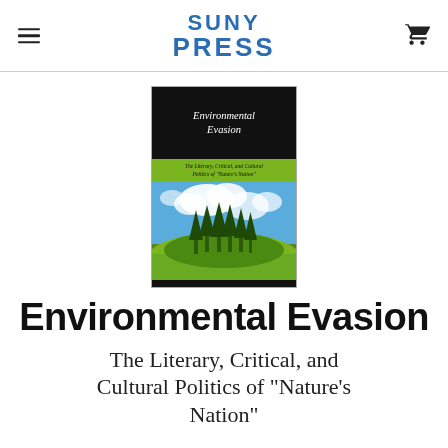SUNY PRESS
[Figure (illustration): Book cover for Environmental Evasion by Lloyd Willis. Black top section with italic white title text 'Environmental Evasion', green band with subtitle 'The Literary, Critical, and Cultural Politics of "Nature's Nation"', photo of pine trees on hillside against blue sky, black bottom band with author name LLOYD WILLIS.]
Environmental Evasion
The Literary, Critical, and Cultural Politics of "Nature's Nation"